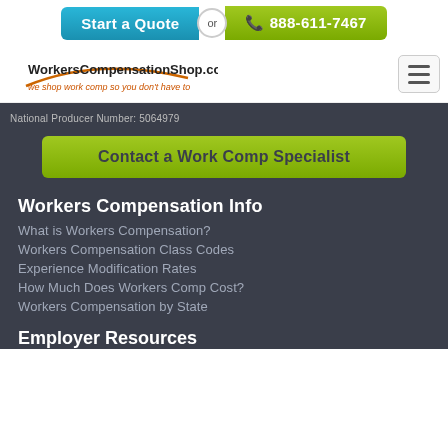[Figure (screenshot): Start a Quote button (blue) with 'or' circle divider and phone icon with 888-611-7467 (green) CTA bar]
[Figure (logo): WorkersCompensationShop.com logo with tagline 'we shop work comp so you don't have to' and hamburger menu icon]
National Producer Number: 5064979
[Figure (screenshot): Green button: Contact a Work Comp Specialist]
Workers Compensation Info
What is Workers Compensation?
Workers Compensation Class Codes
Experience Modification Rates
How Much Does Workers Comp Cost?
Workers Compensation by State
Employer Resources